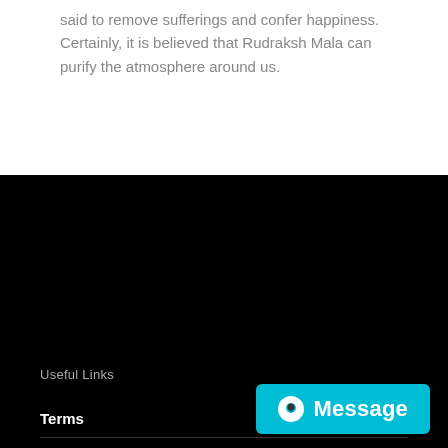said to remove sufferings and confer happiness. Certainly, it is believed that Rudraksh Mala can purify the atmosphere around us.
Useful Links
Terms
Privacy Policy
Careers
Cancellation & Refund
Privacy Policy
Acharya Gaurav Arya
Terms & Conditions
Appointment
Message